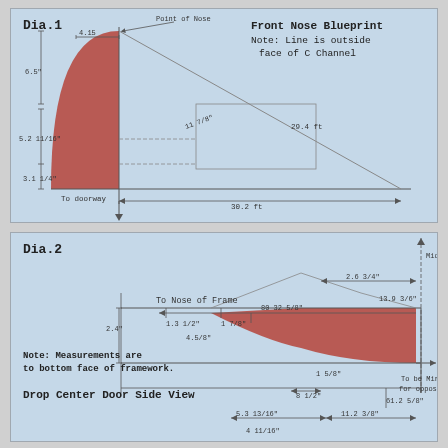[Figure (engineering-diagram): Dia.1 Front Nose Blueprint engineering drawing showing a curved red nose shape with dimension lines. Dimensions include 4.15 width at top, 6.5 height, 5.2 11/16, 3.1 1/4, 11 7/8, 29.4ft diagonal, 30.2ft horizontal length. Label: To doorway. Note: Line is outside face of C Channel.]
[Figure (engineering-diagram): Dia.2 Drop Center Door Side View engineering drawing showing a curved door profile (red fill) with dimension lines. Dimensions include 2.4, 1.3 1/2, 1 7/8, 4.5/8, 80 32 5/8 (To Nose of Frame), 2.6 3/4, 13.9 3/6, 1 5/8, 61.2 5/8, 8 1/2, 5.3 13/16, 11.2 3/8, 4 11/16. Note: Measurements are to bottom face of framework. To be Mirrored for opposite side.]